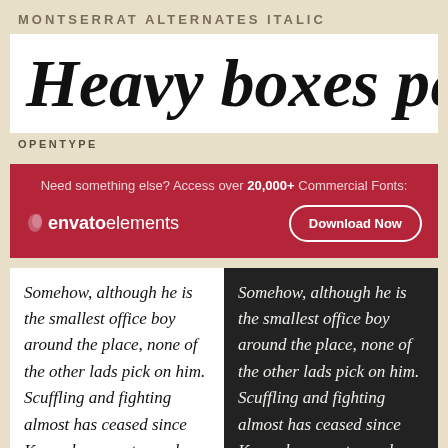MONTSERRAT ALTERNATES ITALIC
Heavy boxes perform q
OPENTYPE
Need something else? Access over 20,000+ Commercial Fonts:
[Figure (logo): Envato Elements logo with leaf icon and Download Now button]
Somehow, although he is the smallest office boy around the place, none of the other lads pick on him. Scuffling and fighting almost has ceased since Kerensky came to work. That's
Somehow, although he is the smallest office boy around the place, none of the other lads pick on him. Scuffling and fighting almost has ceased since Kerensky came to work. That's